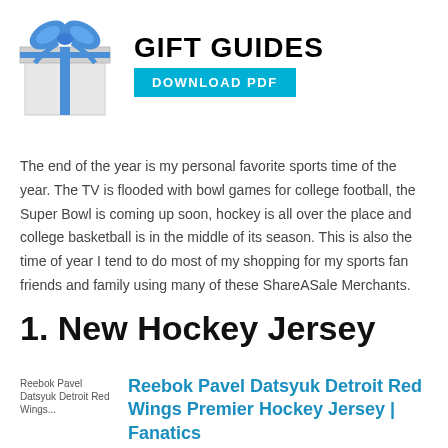[Figure (illustration): Gift box with blue bow on left, 'GIFT GUIDES' title in bold black text on right, with a cyan/teal 'DOWNLOAD PDF' button below the title]
The end of the year is my personal favorite sports time of the year. The TV is flooded with bowl games for college football, the Super Bowl is coming up soon, hockey is all over the place and college basketball is in the middle of its season. This is also the time of year I tend to do most of my shopping for my sports fan friends and family using many of these ShareASale Merchants.
1. New Hockey Jersey
[Figure (photo): Reebok Pavel Datsyuk Detroit Red Wings jersey product image placeholder]
Reebok Pavel Datsyuk Detroit Red Wings Premier Hockey Jersey | Fanatics